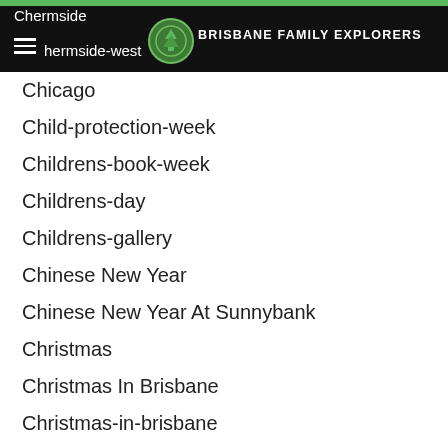Chermside | Chermside-west | BRISBANE FAMILY EXPLORERS
Chicago
Child-protection-week
Childrens-book-week
Childrens-day
Childrens-gallery
Chinese New Year
Chinese New Year At Sunnybank
Christmas
Christmas In Brisbane
Christmas-in-brisbane
Christmas In Gold Coast
Christmas In Ipswich
Christmas In July
Christmas-in-the-city
Christmas-in-the-city
Christmas-lights
Christmas-lights-in-brisbane